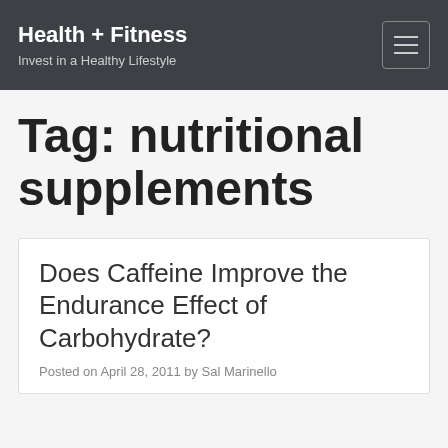Health + Fitness
Invest in a Healthy Lifestyle
Tag: nutritional supplements
Does Caffeine Improve the Endurance Effect of Carbohydrate?
Posted on April 28, 2011 by Sal Marinello